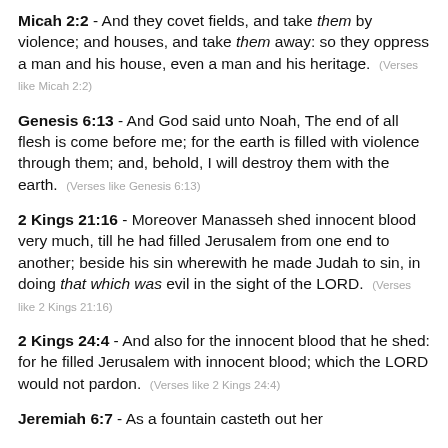Micah 2:2 - And they covet fields, and take them by violence; and houses, and take them away: so they oppress a man and his house, even a man and his heritage. (Verses like Micah 2:2)
Genesis 6:13 - And God said unto Noah, The end of all flesh is come before me; for the earth is filled with violence through them; and, behold, I will destroy them with the earth. (Verses like Genesis 6:13)
2 Kings 21:16 - Moreover Manasseh shed innocent blood very much, till he had filled Jerusalem from one end to another; beside his sin wherewith he made Judah to sin, in doing that which was evil in the sight of the LORD. (Verses like 2 Kings 21:16)
2 Kings 24:4 - And also for the innocent blood that he shed: for he filled Jerusalem with innocent blood; which the LORD would not pardon. (Verses like 2 Kings 24:4)
Jeremiah 6:7 - As a fountain casteth out her